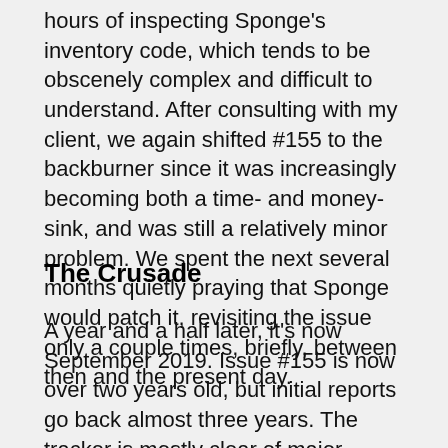hours of inspecting Sponge's inventory code, which tends to be obscenely complex and difficult to understand. After consulting with my client, we again shifted #155 to the backburner since it was increasingly becoming both a time- and money-sink, and was still a relatively minor problem. We spent the next several months quietly praying that Sponge would patch it, revisiting the issue only a couple times, briefly, between then and the present day.
The Crusade
A year and a half later, it's now September 2019. Issue #155 is now over two years old, but initial reports go back almost three years. The tracker is mostly clear of major tickets, with those still open pending